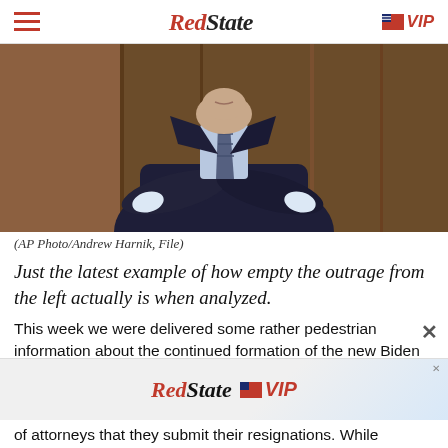RedState   VIP
[Figure (photo): Man in dark navy suit with arms crossed, standing in front of a wooden background. Face partially visible from chin down.]
(AP Photo/Andrew Harnik, File)
Just the latest example of how empty the outrage from the left actually is when analyzed.
This week we were delivered some rather pedestrian information about the continued formation of the new Biden administration. CNN calmly described how the
[Figure (logo): RedState VIP advertisement banner]
of attorneys that they submit their resignations. While